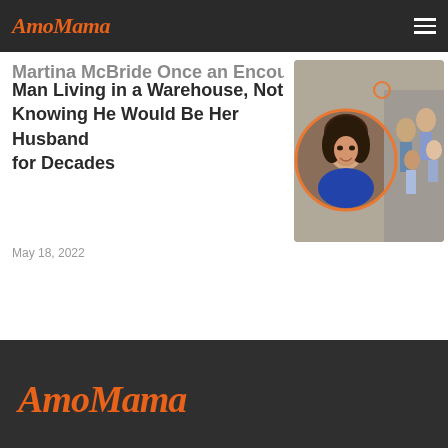AmoMama
Martina McBride Once an Encounter of Man Living in a Warehouse, Not Knowing He Would Be Her Husband for Decades
May 18, 2022
[Figure (photo): Photo collage: woman with dark curly hair smiling (left circle), family group photo (right)]
AmoMama